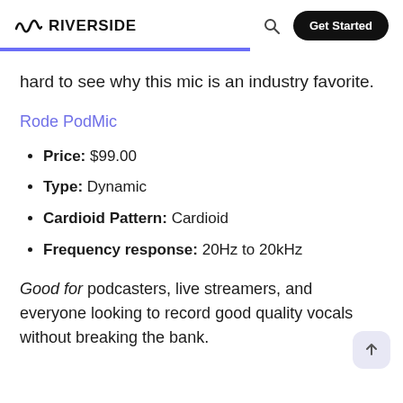RIVERSIDE | Get Started
hard to see why this mic is an industry favorite.
Rode PodMic
Price: $99.00
Type: Dynamic
Cardioid Pattern: Cardioid
Frequency response: 20Hz to 20kHz
Good for podcasters, live streamers, and everyone looking to record good quality vocals without breaking the bank.